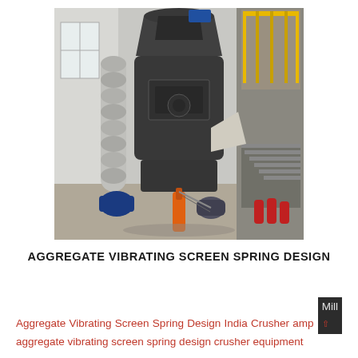[Figure (photo): Industrial grinding mill or pulverizer machine inside a factory building. Large dark cylindrical vertical mill with conical top, spiral duct on the left, yellow metal staircase railing on the right, electric motor at the base, hydraulic cylinder visible, red cylinders in background. White interior walls and concrete floor.]
AGGREGATE VIBRATING SCREEN SPRING DESIGN
Aggregate Vibrating Screen Spring Design India Crusher amp Mill aggregate vibrating screen spring design crusher equipment